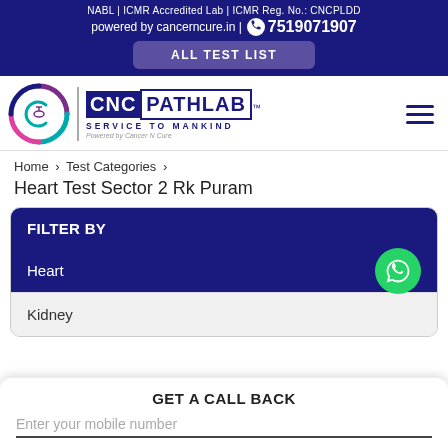NABL | ICMR Accredited Lab | ICMR Reg. No.: CNCPLDD
powered by cancerncure.in | 7519071907
ALL TEST LIST
[Figure (logo): CNC Pathlab logo with circular C emblem and text SERVICE TO MANKIND, Powered by Cancer N Cure]
Home > Test Categories > Heart Test Sector 2 Rk Puram
Heart Test Sector 2 Rk Puram
FILTER BY
Heart
Kidney
GET A CALL BACK
Enter your mobile number